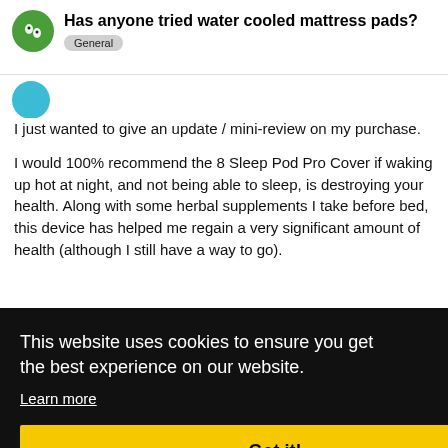Has anyone tried water cooled mattress pads?
General
I just wanted to give an update / mini-review on my purchase.
I would 100% recommend the 8 Sleep Pod Pro Cover if waking up hot at night, and not being able to sleep, is destroying your health. Along with some herbal supplements I take before bed, this device has helped me regain a very significant amount of health (although I still have a way to go).
This website uses cookies to ensure you get the best experience on our website.
Learn more
Got it!
NOT
n able
is is
was
nings
work for me – as the circulation wa: